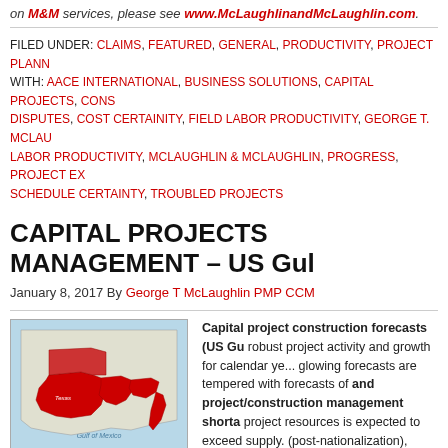on M&M services, please see www.McLaughlinandMcLaughlin.com.
FILED UNDER: CLAIMS, FEATURED, GENERAL, PRODUCTIVITY, PROJECT PLANN... WITH: AACE INTERNATIONAL, BUSINESS SOLUTIONS, CAPITAL PROJECTS, CONS... DISPUTES, COST CERTAINITY, FIELD LABOR PRODUCTIVITY, GEORGE T. MCLAU... LABOR PRODUCTIVITY, MCLAUGHLIN & MCLAUGHLIN, PROGRESS, PROJECT EX... SCHEDULE CERTAINTY, TROUBLED PROJECTS
CAPITAL PROJECTS MANAGEMENT – US Gul
January 8, 2017 By George T McLaughlin PMP CCM
[Figure (map): Map of United States Gulf Coast region highlighting Texas and surrounding Gulf states in red.]
ted States Gulf Coast
Capital project construction forecasts (US Gu... robust project activity and growth for calendar ye... glowing forecasts are tempered with forecasts of... and project/construction management shorta... project resources is expected to exceed supply. ... (post-nationalization), Canada (oil sands expans... imperfections. M&M has evaluated these foreca... and demand implications as well as professional... forward. This is an emerging and dynamic mana...
business opportunity. M&M's recent and extensive work in the field at active job...